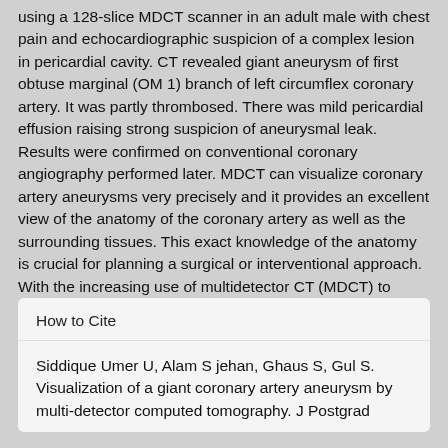using a 128-slice MDCT scanner in an adult male with chest pain and echocardiographic suspicion of a complex lesion in pericardial cavity. CT revealed giant aneurysm of first obtuse marginal (OM 1) branch of left circumflex coronary artery. It was partly thrombosed. There was mild pericardial effusion raising strong suspicion of aneurysmal leak. Results were confirmed on conventional coronary angiography performed later. MDCT can visualize coronary artery aneurysms very precisely and it provides an excellent view of the anatomy of the coronary artery as well as the surrounding tissues. This exact knowledge of the anatomy is crucial for planning a surgical or interventional approach. With the increasing use of multidetector CT (MDCT) to image the coronary arteries, aneurysms will be identified more frequently.
How to Cite
Siddique Umer U, Alam S jehan, Ghaus S, Gul S. Visualization of a giant coronary artery aneurysm by multi-detector computed tomography. J Postgrad